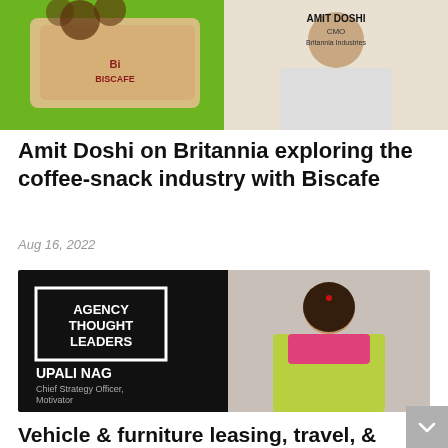[Figure (photo): Green banner with Britannia Biscafe product on left and Amit Doshi, CMO, Britannia Industries on right wearing a white t-shirt with name badge]
Amit Doshi on Britannia exploring the coffee-snack industry with Biscafe
Aug 16, 2022
[Figure (photo): Black background with white bordered box reading AGENCY THOUGHT LEADERS, with UPALI NAG, Chief Strategy Officer, Motivator text on left. Right side shows photo of a woman in a yellow-green saree with pink blouse.]
Vehicle & furniture leasing, travel, & qCommerce are few segments this generation spends on: Upali Nag